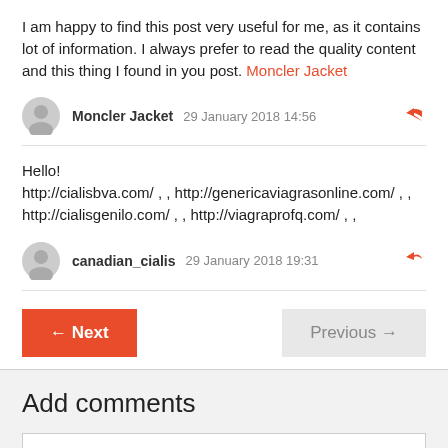I am happy to find this post very useful for me, as it contains lot of information. I always prefer to read the quality content and this thing I found in you post. Moncler Jacket
Moncler Jacket   29 January 2018 14:56
Hello!
http://cialisbva.com/ , , http://genericaviagrasonline.com/ , ,
http://cialisgenilo.com/ , , http://viagraprofq.com/ , ,
canadian_cialis   29 January 2018 19:31
← Next   Previous →
Add comments
name
E-mail